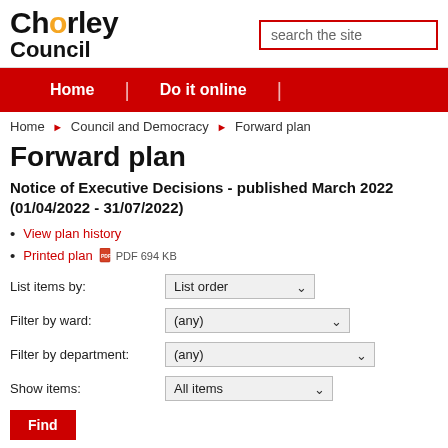[Figure (logo): Chorley Council logo with orange dot in 'Chorley' text]
search the site
Home | Do it online |
Home ▶ Council and Democracy ▶ Forward plan
Forward plan
Notice of Executive Decisions - published March 2022 (01/04/2022 - 31/07/2022)
View plan history
Printed plan  PDF 694 KB
List items by: List order
Filter by ward: (any)
Filter by department: (any)
Show items: All items
Find